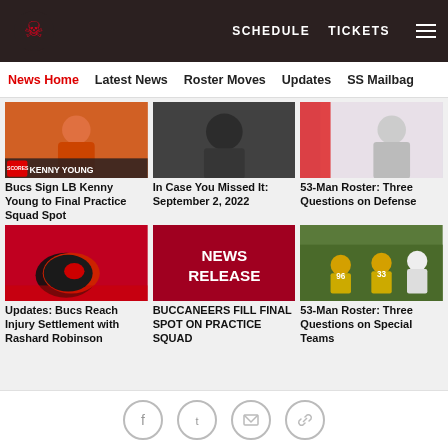Tampa Bay Buccaneers navigation bar with SCHEDULE, TICKETS links
News Home | Latest News | Roster Moves | Updates | SS Mailbag
[Figure (photo): Kenny Young photo with orange jersey player]
Bucs Sign LB Kenny Young to Final Practice Squad Spot
[Figure (photo): Dark silhouette photo of player]
In Case You Missed It: September 2, 2022
[Figure (photo): Player in white Buccaneers jersey running]
53-Man Roster: Three Questions on Defense
[Figure (photo): Buccaneers helmet on red turf]
Updates: Bucs Reach Injury Settlement with Rashard Robinson
[Figure (other): Red NEWS RELEASE graphic]
BUCCANEERS FILL FINAL SPOT ON PRACTICE SQUAD
[Figure (photo): Football game action shot with Rams and Buccaneers players]
53-Man Roster: Three Questions on Special Teams
Social share icons: Facebook, Twitter, Email, Link